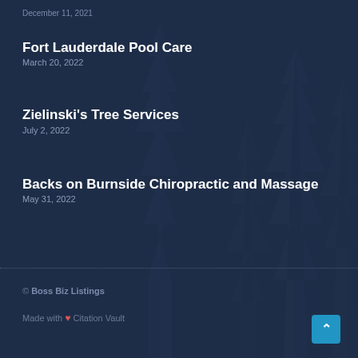December 11, 2021
Fort Lauderdale Pool Care
March 20, 2022
Zielinski's Tree Services
July 2, 2022
Backs on Burnside Chiropractic and Massage
May 31, 2022
© Boss Biz Listings
Made with ❤ Citation Vault